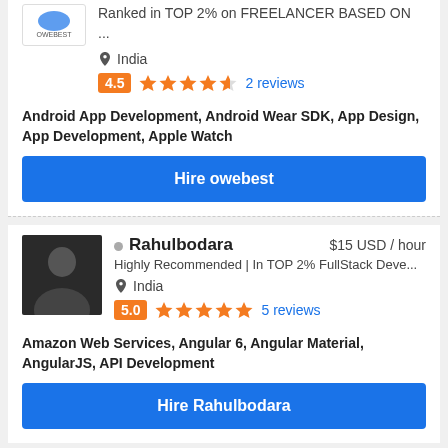Ranked in TOP 2% on FREELANCER BASED ON ...
India
4.5  2 reviews
Android App Development, Android Wear SDK, App Design, App Development, Apple Watch
Hire owebest
Rahulbodara  $15 USD / hour
Highly Recommended | In TOP 2% FullStack Deve...
India
5.0  5 reviews
Amazon Web Services, Angular 6, Angular Material, AngularJS, API Development
Hire Rahulbodara